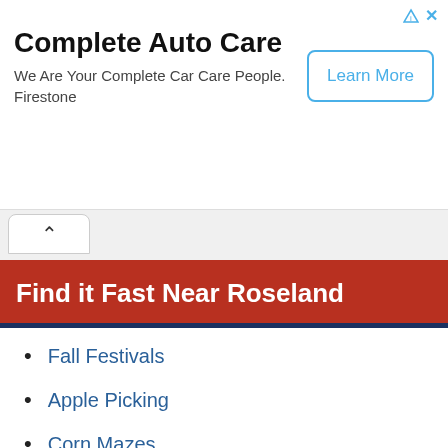Complete Auto Care
We Are Your Complete Car Care People. Firestone
Learn More
Find it Fast Near Roseland
Fall Festivals
Apple Picking
Corn Mazes
Pumpkin Picking
Wineries & Vineyards
Dog Parks
Road Races
Car Deals and Guide